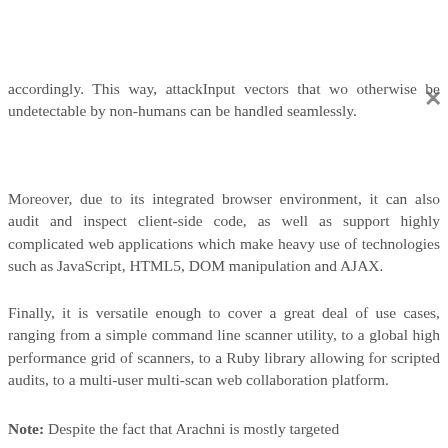accordingly. This way, attackInput vectors that wo otherwise be undetectable by non-humans can be handled seamlessly.
Moreover, due to its integrated browser environment, it can also audit and inspect client-side code, as well as support highly complicated web applications which make heavy use of technologies such as JavaScript, HTML5, DOM manipulation and AJAX.
Finally, it is versatile enough to cover a great deal of use cases, ranging from a simple command line scanner utility, to a global high performance grid of scanners, to a Ruby library allowing for scripted audits, to a multi-user multi-scan web collaboration platform.
Note: Despite the fact that Arachni is mostly targeted